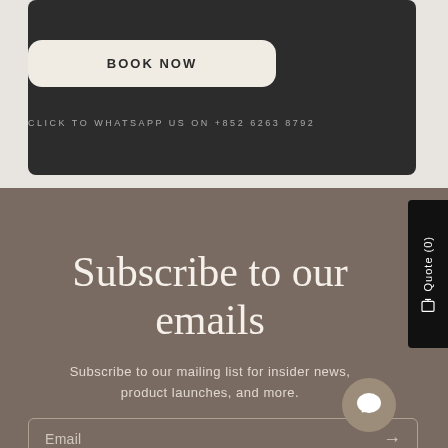BOOK NOW
CLICK TO WHATSAPP US ON +852 6263 8792
Subscribe to our emails
Subscribe to our mailing list for insider news, product launches, and more.
Email →
Quote (0)